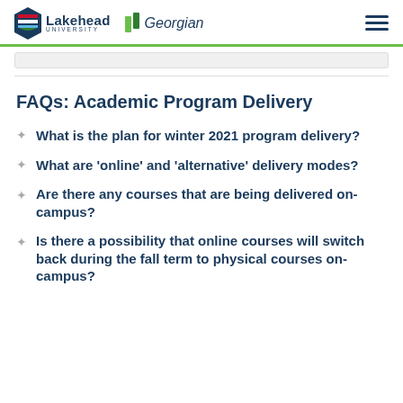Lakehead University | Georgian
FAQs: Academic Program Delivery
What is the plan for winter 2021 program delivery?
What are 'online' and 'alternative' delivery modes?
Are there any courses that are being delivered on-campus?
Is there a possibility that online courses will switch back during the fall term to physical courses on-campus?